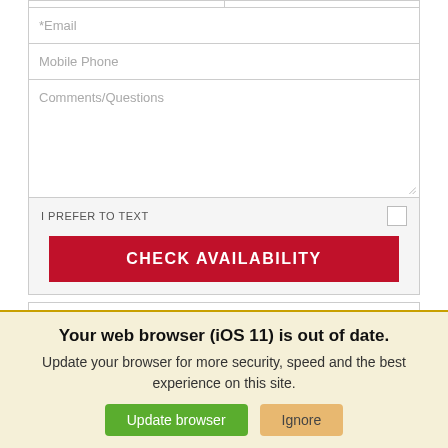[Figure (screenshot): Web form with email, mobile phone, comments fields, a prefer to text checkbox, and a red CHECK AVAILABILITY button]
Your web browser (iOS 11) is out of date. Update your browser for more security, speed and the best experience on this site.
Update browser | Ignore